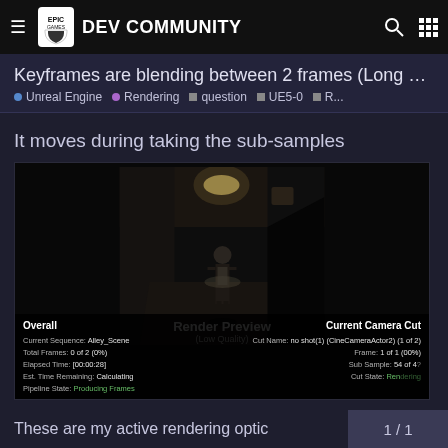Epic Games DEV COMMUNITY
Keyframes are blending between 2 frames (Long Ex...
• Unreal Engine  • Rendering  ■ question  ■ UE5-0  ■ R...
It moves during taking the sub-samples
[Figure (screenshot): Unreal Engine Movie Render Queue preview screenshot showing a dark alley scene with a figure, overlaid with Render Preview (Low Quality) text and Overall / Current Camera Cut stats panels displaying Current Sequence: Alley_Scene, Total Frames: 0 of 2 (0%), Elapsed Time: [00:00:28], Est. Time Remaining: Calculating, Pipeline State: Producing Frames, Cut Name: no shot(1) (CineCameraActor2) (1 of 2), Frame: 1 of 1 (00%), Sub Sample: 54 of 4?, Cut State: Rendering]
These are my active rendering optic
1 / 1